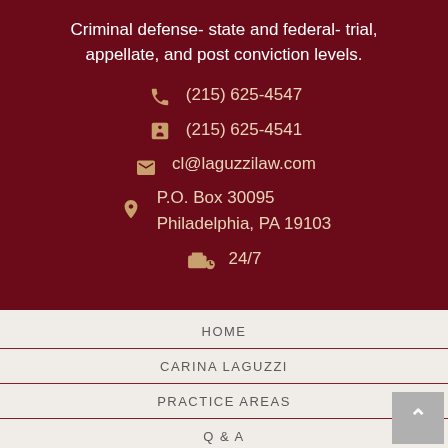Criminal defense- state and federal- trial, appellate, and post conviction levels.
(215) 625-4547
(215) 625-4541
cl@laguzzilaw.com
P.O. Box 30095
Philadelphia, PA 19103
24/7
HOME
CARINA LAGUZZI
PRACTICE AREAS
Q & A